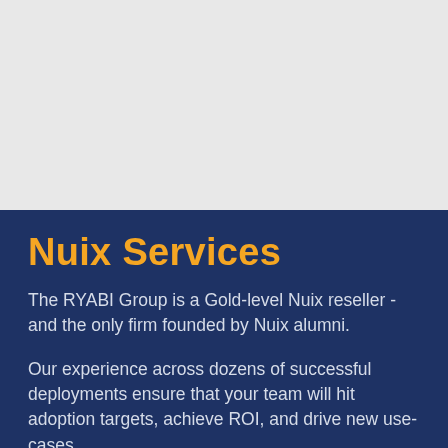[Figure (photo): Light grey placeholder image area occupying the top portion of the page]
Nuix Services
The RYABI Group is a Gold-level Nuix reseller - and the only firm founded by Nuix alumni.
Our experience across dozens of successful deployments ensure that your team will hit adoption targets, achieve ROI, and drive new use-cases.